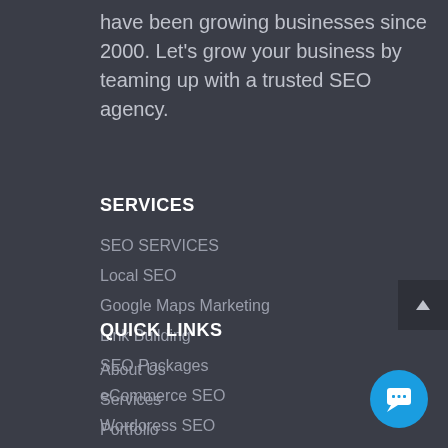have been growing businesses since 2000. Let's grow your business by teaming up with a trusted SEO agency.
SERVICES
SEO SERVICES
Local SEO
Google Maps Marketing
Link Building
SEO Packages
eCommerce SEO
Wordoress SEO
QUICK LINKS
About Us
Services
Portfolio
Our Blog